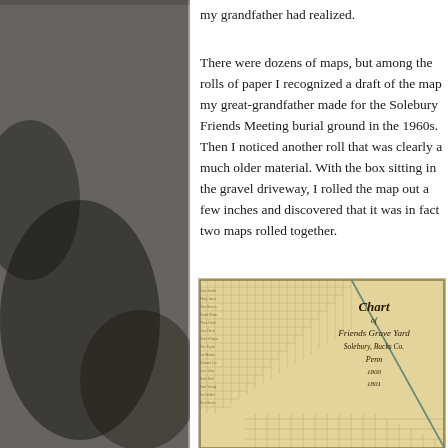my grandfather had realized.
There were dozens of maps, but among the rolls of paper I recognized a draft of the map my great-grandfather made for the Solebury Friends Meeting burial ground in the 1960s. Then I noticed another roll that was clearly a much older material. With the box sitting in the gravel driveway, I rolled the map out a few inches and discovered that it was in fact two maps rolled together.
[Figure (photo): Photograph of an old handwritten chart/map of a Friends Grave Yard, showing a grid layout with handwritten entries and a diagonal line across the sheet. Title reads 'Chart of Friends Grave Yard, Solebury, Bucks Co., Pennsylvania, 1800, 1801'.]